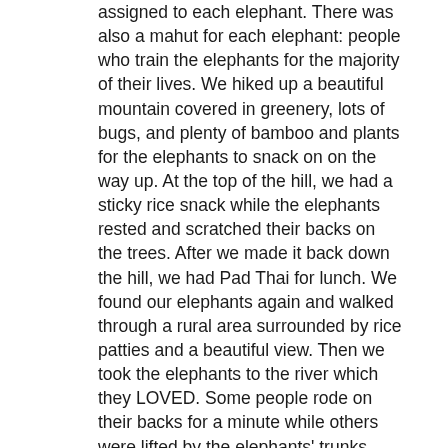assigned to each elephant. There was also a mahut for each elephant: people who train the elephants for the majority of their lives. We hiked up a beautiful mountain covered in greenery, lots of bugs, and plenty of bamboo and plants for the elephants to snack on on the way up. At the top of the hill, we had a sticky rice snack while the elephants rested and scratched their backs on the trees. After we made it back down the hill, we had Pad Thai for lunch. We found our elephants again and walked through a rural area surrounded by rice patties and a beautiful view. Then we took the elephants to the river which they LOVED. Some people rode on their backs for a minute while others were lifted by the elephants' trunks. After walking back to the camp, we said our final goodbyes to our elephants and headed home.
Finally, we ended the night by going to a Chiang Mai v Bangkok soccer game. Chiang Mai won 2 to 1 and we all celebrated. We went back to home base and went to bed early for yet again, another 7 a.m. breakfast.